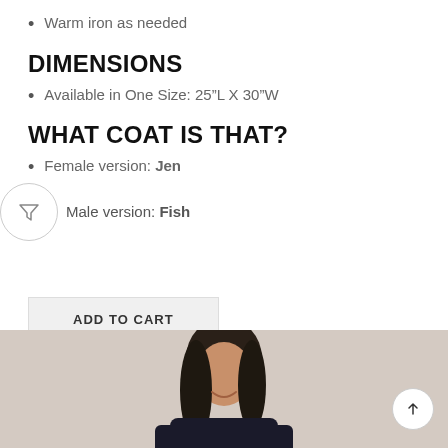Warm iron as needed
DIMENSIONS
Available in One Size: 25"L X 30"W
WHAT COAT IS THAT?
Female version: Jen
Male version: Fish
ADD TO CART
[Figure (photo): Photo of a woman with long dark hair, smiling, wearing a dark coat. Only the upper portion is visible as a cropped image at the bottom of the page.]